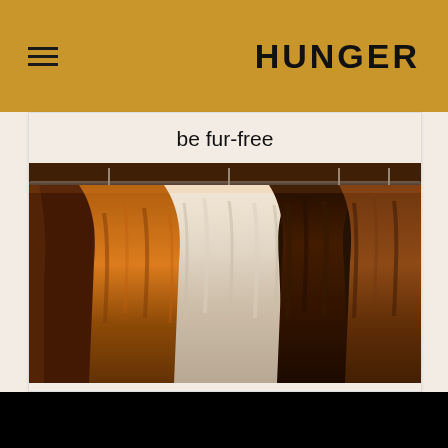≡  HUNGER
be fur-free
[Figure (photo): Various fur coats hanging on racks in a store, showing brown, white, and dark fur coats densely packed together under warm lighting]